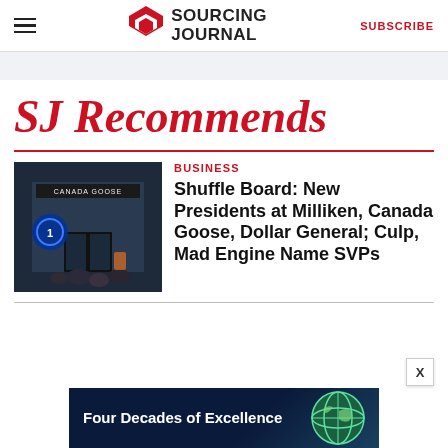Sourcing Journal — SUBSCRIBE
SJ Recommends
[Figure (photo): Canada Goose store front with people outside]
BUSINESS
Shuffle Board: New Presidents at Milliken, Canada Goose, Dollar General; Culp, Mad Engine Name SVPs
[Figure (photo): Advertisement banner: Four Decades of Excellence with globe graphic]